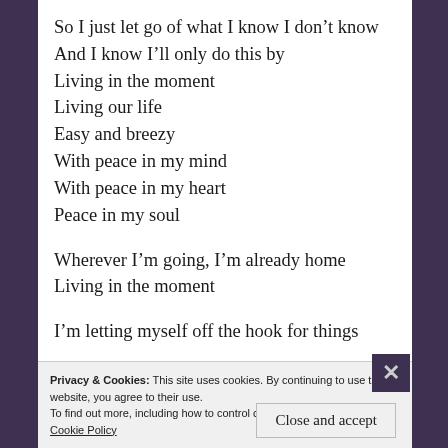So I just let go of what I know I don't know
And I know I'll only do this by
Living in the moment
Living our life
Easy and breezy
With peace in my mind
With peace in my heart
Peace in my soul

Wherever I'm going, I'm already home
Living in the moment

I'm letting myself off the hook for things
Privacy & Cookies: This site uses cookies. By continuing to use this website, you agree to their use.
To find out more, including how to control cookies, see here:
Cookie Policy
Close and accept